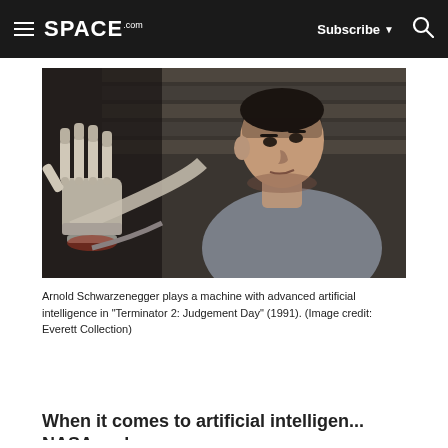SPACE.com | Subscribe | Search
[Figure (photo): Arnold Schwarzenegger as the Terminator, holding up his robotic skeletal arm/hand, wearing a grey t-shirt, in a scene from Terminator 2: Judgement Day (1991)]
Arnold Schwarzenegger plays a machine with advanced artificial intelligence in "Terminator 2: Judgement Day" (1991). (Image credit: Everett Collection)
When it comes to artificial intelligence, NASA and...